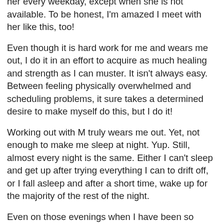her every weekday, except when she is not available.  To be honest, I'm amazed I meet with her like this, too!
Even though it is hard work for me and wears me out, I do it in an effort to acquire as much healing and strength as I can muster.  It isn't always easy.  Between feeling physically overwhelmed and scheduling problems, it sure takes a determined desire to make myself do this, but I do it!
Working out with M truly wears me out.  Yet, not enough to make me sleep at night.  Yup.  Still, almost every night is the same.  Either I can't sleep and get up after trying everything I can to drift off, or I fall asleep and after a short time, wake up for the majority of the rest of the night.
Even on those evenings when I have been so exhausted that I couldn't keep my eyes open while relaxing in my recliner chair, I crawl into bed, only to find my eyes go...boing!  Open!  Can't sleep!
Melatonin seems to help on occasion, but not always.
It's not like there is something else there is reason for the most d...